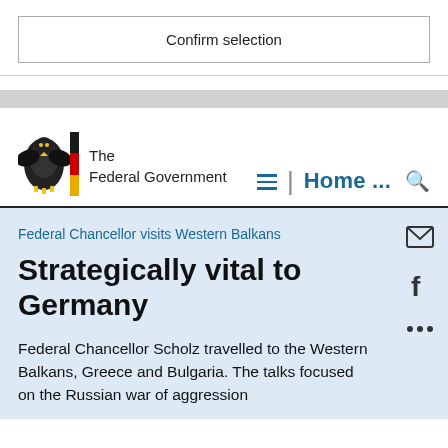Confirm selection
[Figure (logo): German Federal Government eagle logo with black-red-gold flag bar and text 'The Federal Government']
≡  |  Home ...  🔍
Federal Chancellor visits Western Balkans
Strategically vital to Germany
Federal Chancellor Scholz travelled to the Western Balkans, Greece and Bulgaria. The talks focused on the Russian war of aggression